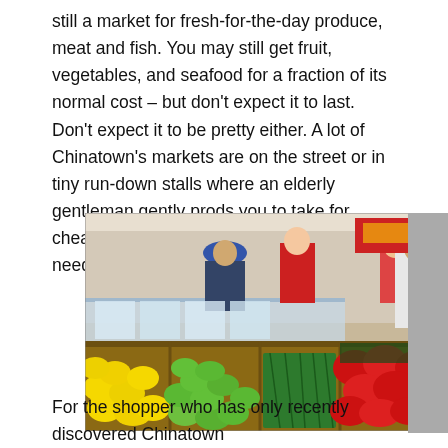still a market for fresh-for-the-day produce, meat and fish. You may still get fruit, vegetables, and seafood for a fraction of its normal cost – but don't expect it to last. Don't expect it to be pretty either. A lot of Chinatown's markets are on the street or in tiny run-down stalls where an elderly gentleman gently prods you to take for cheaper a quantity much more than you will need.
[Figure (photo): Indoor Chinatown market stall with colorful produce displayed in wooden crates: lemons, limes, green jalapeños, red bell peppers, and leafy greens. Several shoppers and a vendor visible in the background.]
For the shopper who has only recently discovered Chinatown